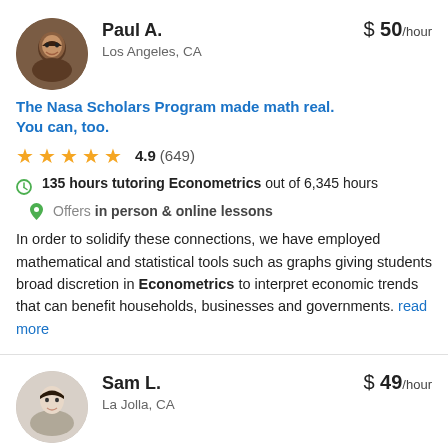[Figure (photo): Circular avatar photo of Paul A., a man smiling]
Paul A.
$ 50/hour
Los Angeles, CA
The Nasa Scholars Program made math real. You can, too.
4.9 (649)
135 hours tutoring Econometrics out of 6,345 hours
Offers in person & online lessons
In order to solidify these connections, we have employed mathematical and statistical tools such as graphs giving students broad discretion in Econometrics to interpret economic trends that can benefit households, businesses and governments. read more
[Figure (photo): Circular avatar photo of Sam L., a person with short dark hair]
Sam L.
$ 49/hour
La Jolla, CA
Undergraduate mathematics and economics...